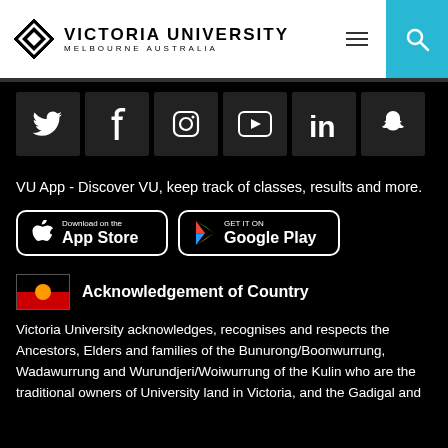Victoria University Melbourne Australia
[Figure (other): Social media icons row: Twitter, Facebook, Instagram, YouTube, LinkedIn, Snapchat]
VU App - Discover VU, keep track of classes, results and more.
[Figure (other): Download on the App Store button]
[Figure (other): Get it on Google Play button]
Acknowledgement of Country
Victoria University acknowledges, recognises and respects the Ancestors, Elders and families of the Bunurong/Boonwurrung, Wadawurrung and Wurundjeri/Woiwurrung of the Kulin who are the traditional owners of University land in Victoria, and the Gadigal and